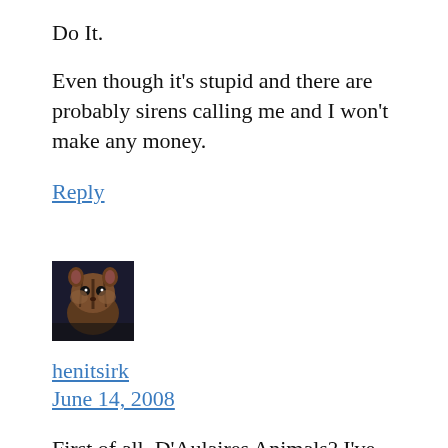Do It.
Even though it’s stupid and there are probably sirens calling me and I won’t make any money.
Reply
[Figure (photo): Small square avatar image of a chipmunk or squirrel]
henitsirk
June 14, 2008
First of all, D’Aulaires Animals? I’ve never seen that one! Must find it! (We’re partial to the Trolls one lately.)